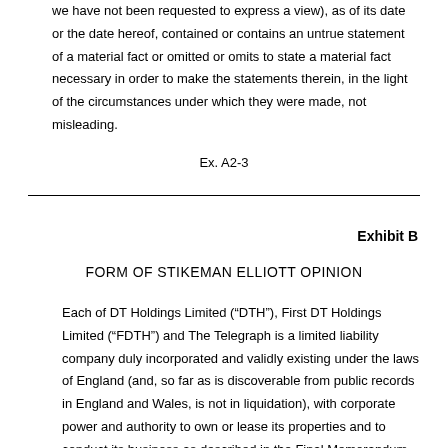we have not been requested to express a view), as of its date or the date hereof, contained or contains an untrue statement of a material fact or omitted or omits to state a material fact necessary in order to make the statements therein, in the light of the circumstances under which they were made, not misleading.
Ex. A2-3
Exhibit B
FORM OF STIKEMAN ELLIOTT OPINION
Each of DT Holdings Limited (“DTH”), First DT Holdings Limited (“FDTH”) and The Telegraph is a limited liability company duly incorporated and validly existing under the laws of England (and, so far as is discoverable from public records in England and Wales, is not in liquidation), with corporate power and authority to own or lease its properties and to conduct its business as described in the Final Memorandum.